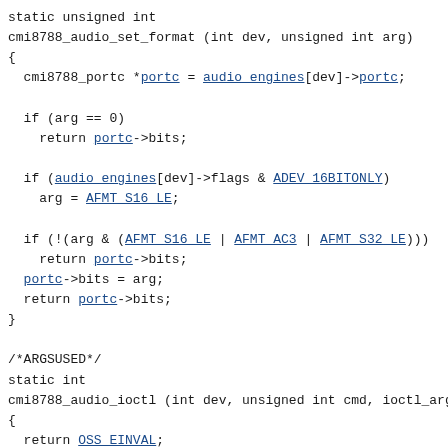static unsigned int
cmi8788_audio_set_format (int dev, unsigned int arg)
{
  cmi8788_portc *portc = audio_engines[dev]->portc;

  if (arg == 0)
    return portc->bits;

  if (audio_engines[dev]->flags & ADEV_16BITONLY)
    arg = AFMT_S16_LE;

  if (!(arg & (AFMT_S16_LE | AFMT_AC3 | AFMT_S32_LE)))
    return portc->bits;
  portc->bits = arg;
  return portc->bits;
}

/*ARGSUSED*/
static int
cmi8788_audio_ioctl (int dev, unsigned int cmd, ioctl_arg...
{
  return OSS_EINVAL;
}

static void cmi8788_audio_trigger (int dev, int state);

static void
cmi8788_audio_reset (int dev)
{
  cmi8788_audio_trigger (dev, 0);